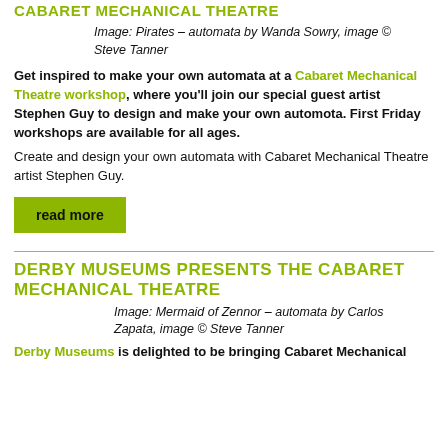CABARET MECHANICAL THEATRE
Image: Pirates – automata by Wanda Sowry, image © Steve Tanner
Get inspired to make your own automata at a Cabaret Mechanical Theatre workshop, where you'll join our special guest artist Stephen Guy to design and make your own automota. First Friday workshops are available for all ages.
Create and design your own automata with Cabaret Mechanical Theatre artist Stephen Guy.
read more
DERBY MUSEUMS PRESENTS THE CABARET MECHANICAL THEATRE
Image: Mermaid of Zennor – automata by Carlos Zapata, image © Steve Tanner
Derby Museums is delighted to be bringing Cabaret Mechanical